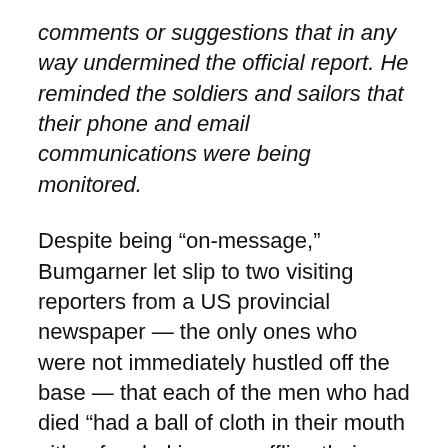comments or suggestions that in any way undermined the official report. He reminded the soldiers and sailors that their phone and email communications were being monitored.
Despite being “on-message,” Bumgarner let slip to two visiting reporters from a US provincial newspaper — the only ones who were not immediately hustled off the base — that each of the men who had died “had a ball of cloth in their mouth either for choking or muffling their voices.” As punishment for straying off the script, Bumgarner was soon suspended, and had his office searched by the FBI.
Just as cynical were the authorities’ attempts to silence the prisoners and their attorneys. The Naval Criminal Investigative Service (NCIS), which was assigned to investigate the deaths, confiscated every single piece of